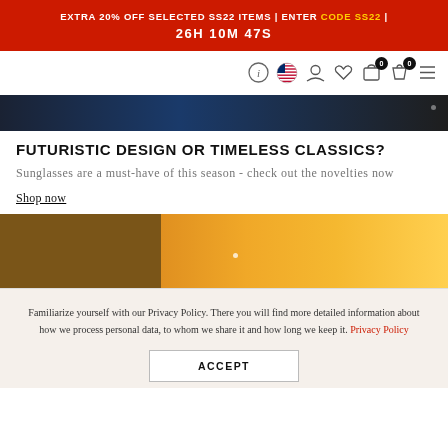EXTRA 20% OFF SELECTED SS22 ITEMS | ENTER CODE SS22 | 26H 10M 47S
[Figure (screenshot): Navigation bar with info icon, US flag, person icon, heart icon, cart (0), wishlist (0), and hamburger menu]
[Figure (photo): Top portion of a fashion/sunglasses hero banner with blue and dark background]
FUTURISTIC DESIGN OR TIMELESS CLASSICS?
Sunglasses are a must-have of this season - check out the novelties now
Shop now
[Figure (photo): Golden and brown color-block banner with a small white dot, showing sunglasses product section]
Familiarize yourself with our Privacy Policy. There you will find more detailed information about how we process personal data, to whom we share it and how long we keep it. Privacy Policy
ACCEPT